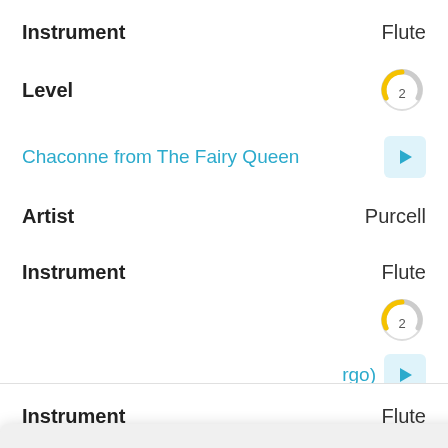Instrument   Flute
Level   2
Chaconne from The Fairy Queen
Artist   Purcell
Instrument   Flute
Level   2
...rgo)
Vivaldi
Flute
Level   1
Gluck
Instrument   Flute
We use cookies on our website to give you the most relevant experience by remembering your preferences and repeat visits. By clicking “Accept All”, you consent to the use of ALL the cookies. However, you may visit “Cookie Settings” to provide a controlled consent.